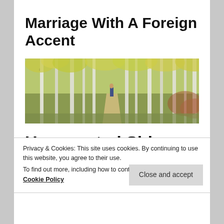Marriage With A Foreign Accent
[Figure (photo): Wide panoramic photo of a birch forest path in autumn with yellow foliage, a person walking in the distance]
Unexpected Side Effect
Privacy & Cookies: This site uses cookies. By continuing to use this website, you agree to their use.
To find out more, including how to control cookies, see here: Cookie Policy
Close and accept